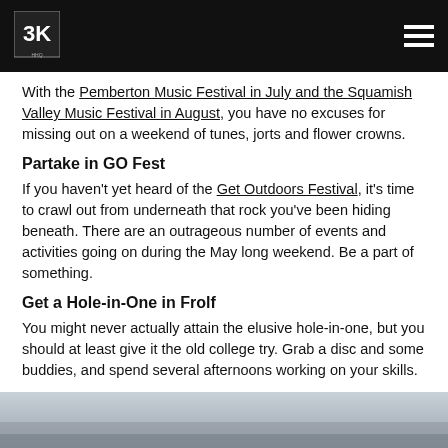[Logo: 3K] [Hamburger menu]
With the Pemberton Music Festival in July and the Squamish Valley Music Festival in August, you have no excuses for missing out on a weekend of tunes, jorts and flower crowns.
Partake in GO Fest
If you haven't yet heard of the Get Outdoors Festival, it's time to crawl out from underneath that rock you've been hiding beneath. There are an outrageous number of events and activities going on during the May long weekend. Be a part of something.
Get a Hole-in-One in Frolf
You might never actually attain the elusive hole-in-one, but you should at least give it the old college try. Grab a disc and some buddies, and spend several afternoons working on your skills.
Kill it at Crankworx
[Figure (photo): Grey/blue outdoor photo partially visible at bottom of page]